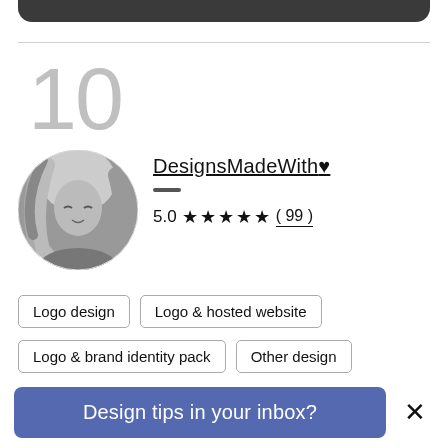[Figure (other): Dark rounded top bar UI element]
10
[Figure (photo): Black and white circular profile photo of a blonde woman looking down]
DesignsMadeWith♥
5.0 ★★★★★ ( 99 )
Logo design
Logo & hosted website
Logo & brand identity pack
Other design
Design tips in your inbox?